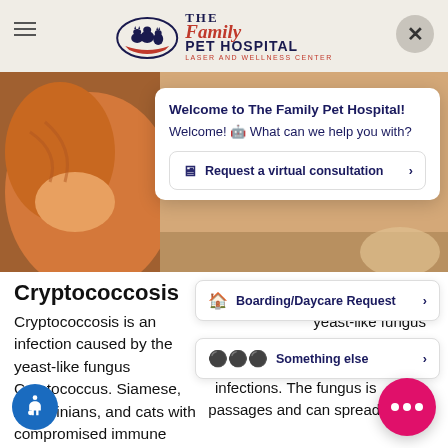The Family Pet Hospital Laser and Wellness Center
[Figure (photo): Close-up photo of an orange tabby cat]
Welcome to The Family Pet Hospital!
Welcome! 🐾 What can we help you with?
Request a virtual consultation >
Boarding/Daycare Request >
Something else >
Cryptococcosis
Cryptococcosis is an infection caused by the yeast-like fungus Cryptococcus. Siamese, Abyssinians, and cats with compromised immune systems, such as FeLV or FIV, are more susceptible to these infections. The fungus is contracted through the nasal passages and can spread to other organs